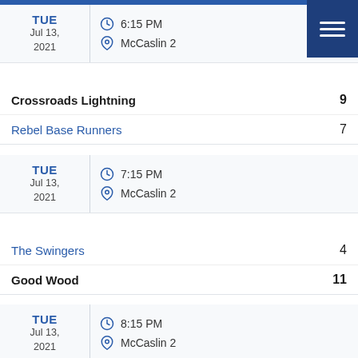TUE Jul 13, 2021 | 6:15 PM | McCaslin 2
Crossroads Lightning 9 | Rebel Base Runners 7
TUE Jul 13, 2021 | 7:15 PM | McCaslin 2
The Swingers 4 | Good Wood 11
TUE Jul 13, 2021 | 8:15 PM | McCaslin 2
The Swingers | Chicks N Sticks
9:15 PM (partial)